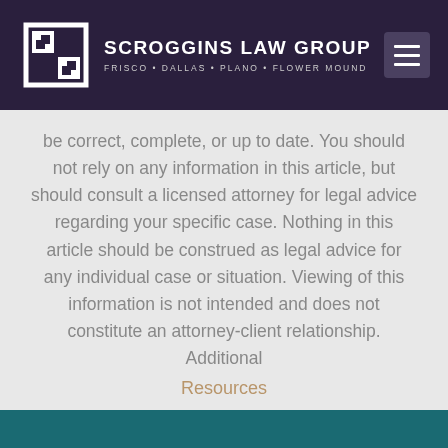SCROGGINS LAW GROUP — FRISCO • DALLAS • PLANO • FLOWER MOUND
be correct, complete, or up to date. You should not rely on any information in this article, but should consult a licensed attorney for legal advice regarding your specific case. Nothing in this article should be construed as legal advice for any individual case or situation. Viewing of this information is not intended and does not constitute an attorney-client relationship. Additional
Resources